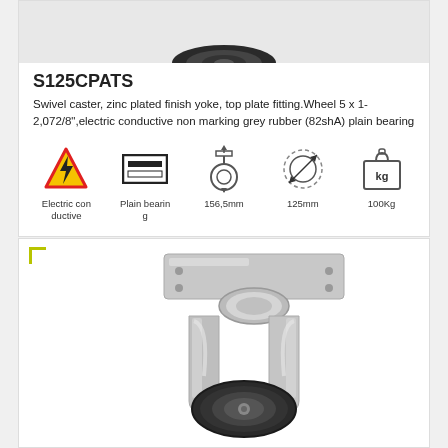[Figure (photo): Top portion of swivel caster wheel, dark rubber, viewed from above]
S125CPATS
Swivel caster, zinc plated finish yoke, top plate fitting.Wheel 5 x 1-2,072/8",electric conductive non marking grey rubber (82shA) plain bearing
[Figure (infographic): Row of 5 icons: Electric conductive (warning triangle with lightning bolt), Plain bearing (rectangle icon), 156,5mm height, 125mm wheel diameter, 100Kg load capacity]
[Figure (photo): Close-up photo of swivel caster with stainless steel yoke and top plate, black rubber wheel, viewed from side angle]